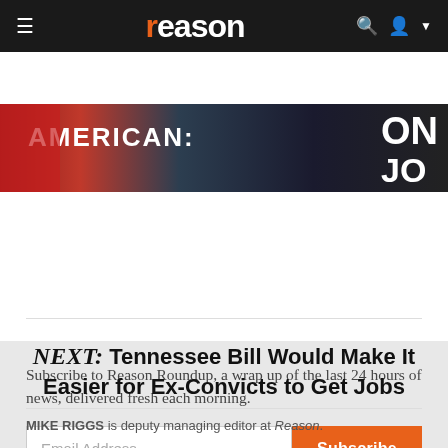reason
[Figure (photo): Partial view of protest or event banners reading 'AMERICAN' and 'ON JO' in large letters against a dark background]
Subscribe to Reason Roundup, a wrap up of the last 24 hours of news, delivered fresh each morning.
NEXT: Tennessee Bill Would Make It Easier for Ex-Convicts to Get Jobs
MIKE RIGGS is deputy managing editor at Reason.